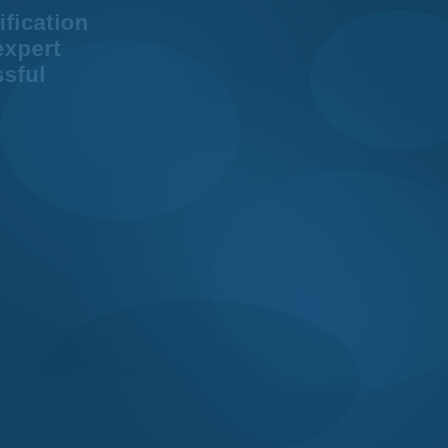[Figure (illustration): Dark blue background page, nearly solid deep blue color (#1a5580) with subtle tonal variations. Partially visible text in the top-left corner showing fragments: 'tification', 'expert', 'ssful' in a slightly lighter blue, suggesting clipped words from a decorative background text overlay.]